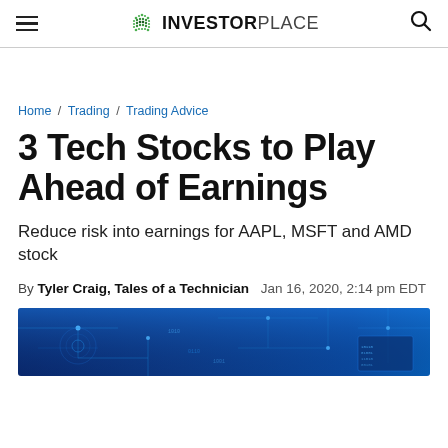InvestorPlace
Home / Trading / Trading Advice
3 Tech Stocks to Play Ahead of Earnings
Reduce risk into earnings for AAPL, MSFT and AMD stock
By Tyler Craig, Tales of a Technician  Jan 16, 2020, 2:14 pm EDT
[Figure (photo): Blue technology background image with circuit board and digital elements]